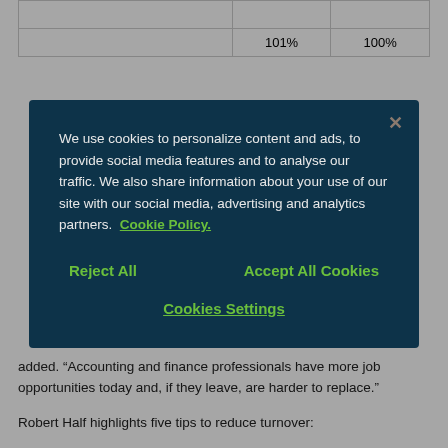|  |  |  |
| --- | --- | --- |
|  |  |  |
|  | 101% | 100% |
We use cookies to personalize content and ads, to provide social media features and to analyse our traffic. We also share information about your use of our site with our social media, advertising and analytics partners. Cookie Policy.
Reject All   Accept All Cookies
Cookies Settings
added. “Accounting and finance professionals have more job opportunities today and, if they leave, are harder to replace.”
Robert Half highlights five tips to reduce turnover: